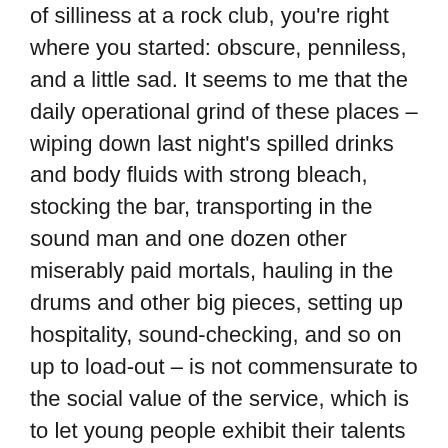of silliness at a rock club, you're right where you started: obscure, penniless, and a little sad. It seems to me that the daily operational grind of these places – wiping down last night's spilled drinks and body fluids with strong bleach, stocking the bar, transporting in the sound man and one dozen other miserably paid mortals, hauling in the drums and other big pieces, setting up hospitality, sound-checking, and so on up to load-out – is not commensurate to the social value of the service, which is to let young people exhibit their talents (usually imaginary) to an audience (also known as a handful of acquaintances cajoled and shamed into coming) in a professional production environment (!), so that the act can ultimately gain enough of a toehold, through multiple appearances in these disreputable sick wards, to climb to a height in the music firmament from which it can create artistic works in financial security and perform for acres of ecstatic